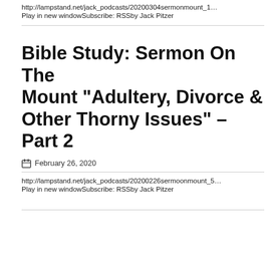http://lampstand.net/jack_podcasts/20200304sermonmount_1…
Play in new windowSubscribe: RSSby Jack Pitzer
Bible Study: Sermon On The Mount “Adultery, Divorce & Other Thorny Issues” – Part 2
February 26, 2020
http://lampstand.net/jack_podcasts/20200226sermoonmount_5…
Play in new windowSubscribe: RSSby Jack Pitzer